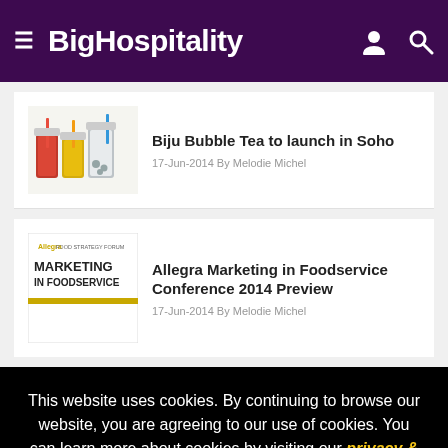BigHospitality
[Figure (photo): Photo of colorful bubble tea drinks with straws in glasses]
Biju Bubble Tea to launch in Soho
17-Jun-2014 By Melodie Michel
[Figure (logo): Allegra Food Strategy Forum Marketing in Foodservice logo/banner]
Allegra Marketing in Foodservice Conference 2014 Preview
17-Jun-2014 By Melodie Michel
This website uses cookies. By continuing to browse our website, you are agreeing to our use of cookies. You can learn more about cookies by visiting our privacy & cookies policy page.